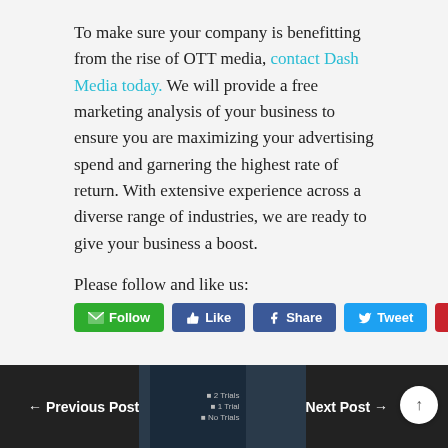To make sure your company is benefitting from the rise of OTT media, contact Dash Media today. We will provide a free marketing analysis of your business to ensure you are maximizing your advertising spend and garnering the highest rate of return. With extensive experience across a diverse range of industries, we are ready to give your business a boost.
Please follow and like us:
[Figure (other): Social media action buttons: Follow (green), Like (blue), Share (blue Facebook), Tweet (light blue Twitter), Save (red Pinterest)]
← Previous Post    Next Post →